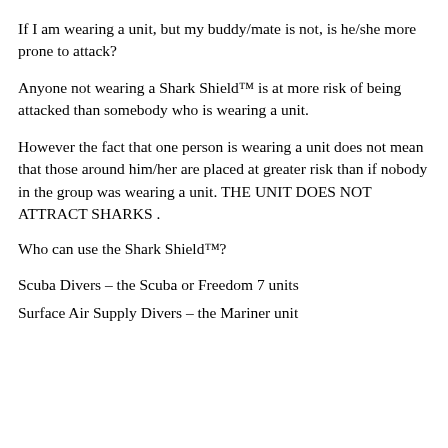If I am wearing a unit, but my buddy/mate is not, is he/she more prone to attack?
Anyone not wearing a Shark Shield™ is at more risk of being attacked than somebody who is wearing a unit.
However the fact that one person is wearing a unit does not mean that those around him/her are placed at greater risk than if nobody in the group was wearing a unit. THE UNIT DOES NOT ATTRACT SHARKS .
Who can use the Shark Shield™?
Scuba Divers – the Scuba or Freedom 7 units
Surface Air Supply Divers – the Mariner unit